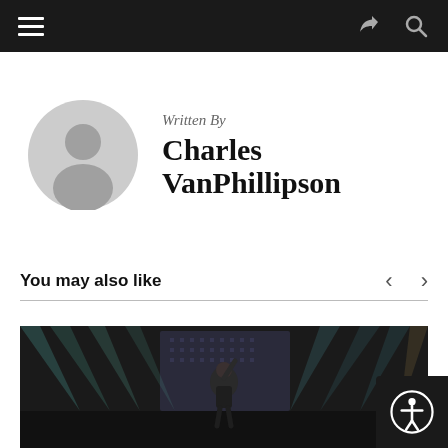Navigation bar with menu, share, and search icons
Written By
Charles VanPhillipson
You may also like
[Figure (photo): Concert photo of a performer on stage with dramatic stage lighting, beams of light, and a LED screen backdrop]